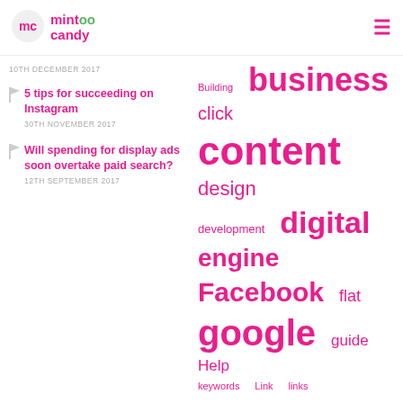mintoo candy
10TH DECEMBER 2017
5 tips for succeeding on Instagram
30TH NOVEMBER 2017
Will spending for display ads soon overtake paid search?
12TH SEPTEMBER 2017
[Figure (infographic): Tag cloud with marketing/SEO related terms in varying sizes: Building, business, click, content, design, development, digital, engine, Facebook, flat, google, guide, Help, keywords, Link, links, marketing, media, mistakes, mobile, online, optimisation, Organic, paid, pay, per, ppc, search, seo, seo strategy, Share, social, text, tips, traffic, trends, Twitter, Web, Website]